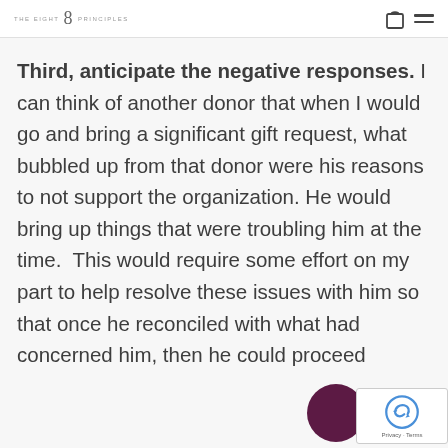THE EIGHT 8 PRINCIPLES
Third, anticipate the negative responses. I can think of another donor that when I would go and bring a significant gift request, what bubbled up from that donor were his reasons to not support the organization. He would bring up things that were troubling him at the time. This would require some effort on my part to help resolve these issues with him so that once he reconciled with what had concerned him, then he could proceed